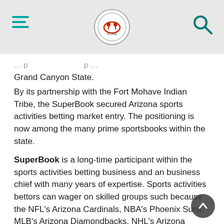[Header with hamburger menu, logo, and search icon]
Grand Canyon State.
By its partnership with the Fort Mohave Indian Tribe, the SuperBook secured Arizona sports activities betting market entry. The positioning is now among the many prime sportsbooks within the state.
SuperBook is a long-time participant within the sports activities betting business and an business chief with many years of expertise. Sports activities bettors can wager on skilled groups such because the NFL's Arizona Cardinals, NBA's Phoenix Suns, MLB's Arizona Diamondbacks, NHL's Arizona Coyotes, and plenty of extra by SuperBook Arizona. This on-line sportsbook's bonuses are structured otherwise than these supplied by different